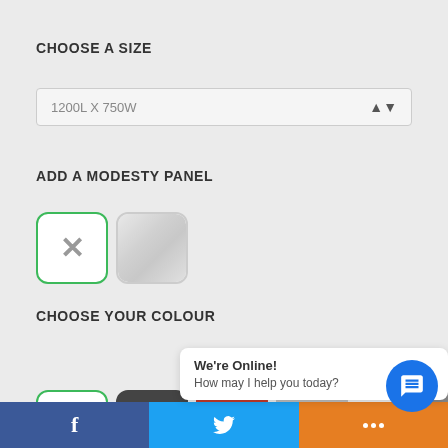CHOOSE A SIZE
1200L X 750W
ADD A MODESTY PANEL
[Figure (screenshot): Two option buttons: first selected (green border, X mark / no modesty panel), second shows fabric texture thumbnail]
CHOOSE YOUR COLOUR
No Screen
[Figure (screenshot): Row of colour selection buttons: first selected (green border, X mark), dark/charcoal, red, and silver/grey options visible]
We're Online!
How may I help you today?
[Figure (screenshot): Bottom social bar with Facebook, Twitter, and chat icons]